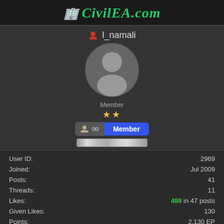CivilEA.com
l_namali
[Figure (illustration): Default user avatar silhouette in a circular frame on dark background]
Member ★★ Member
User ID: 2969
Joined: Jul 2009
Posts: 41
Threads: 11
Likes: 498 in 47 posts
Given Likes: 130
Points: 2,130 EP